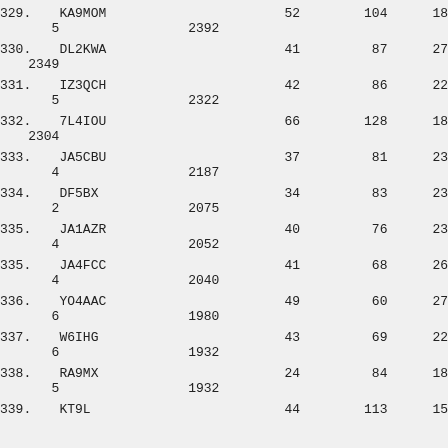| 329. | KA9MOM | 52 | 104 | 18 |
| 5 | 2392 |  |  |  |
| 330. | DL2KWA | 41 | 87 | 27 |
| 2349 |  |  |  |  |
| 331. | IZ3QCH | 42 | 86 | 22 |
| 5 | 2322 |  |  |  |
| 332. | 7L4IOU | 66 | 128 | 18 |
| 2304 |  |  |  |  |
| 333. | JA5CBU | 37 | 81 | 23 |
| 4 | 2187 |  |  |  |
| 334. | DF5BX | 34 | 83 | 23 |
| 2 | 2075 |  |  |  |
| 335. | JA1AZR | 40 | 76 | 23 |
| 4 | 2052 |  |  |  |
| 335. | JA4FCC | 41 | 68 | 26 |
| 4 | 2040 |  |  |  |
| 336. | YO4AAC | 49 | 60 | 27 |
| 6 | 1980 |  |  |  |
| 337. | W6IHG | 43 | 69 | 22 |
| 6 | 1932 |  |  |  |
| 338. | RA9MX | 24 | 84 | 18 |
| 5 | 1932 |  |  |  |
| 339. | KT9L | 44 | 113 | 15 |